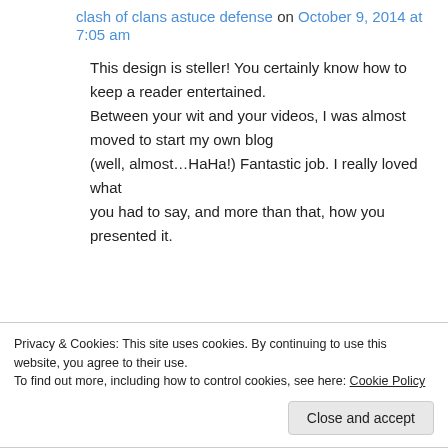clash of clans astuce defense on October 9, 2014 at 7:05 am
This design is steller! You certainly know how to keep a reader entertained. Between your wit and your videos, I was almost moved to start my own blog (well, almost…HaHa!) Fantastic job. I really loved what you had to say, and more than that, how you presented it.
Privacy & Cookies: This site uses cookies. By continuing to use this website, you agree to their use. To find out more, including how to control cookies, see here: Cookie Policy
Close and accept